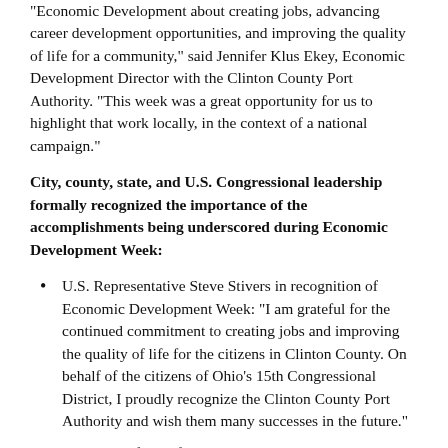Economic Development about creating jobs, advancing career development opportunities, and improving the quality of life for a community," said Jennifer Klus Ekey, Economic Development Director with the Clinton County Port Authority. "This week was a great opportunity for us to highlight that work locally, in the context of a national campaign."
City, county, state, and U.S. Congressional leadership formally recognized the importance of the accomplishments being underscored during Economic Development Week:
U.S. Representative Steve Stivers in recognition of Economic Development Week: "I am grateful for the continued commitment to creating jobs and improving the quality of life for the citizens in Clinton County. On behalf of the citizens of Ohio's 15th Congressional District, I proudly recognize the Clinton County Port Authority and wish them many successes in the future."
Mayor Stanforth of the City of Wilmington, Ohio